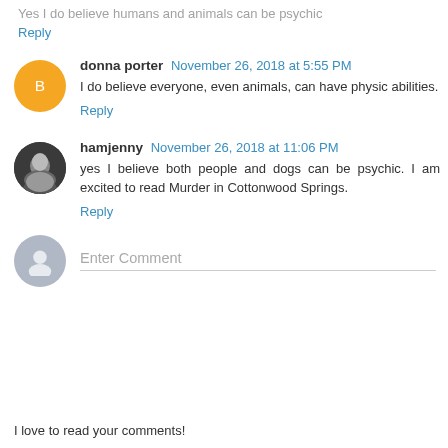Yes I do believe humans and animals can be psychic
Reply
donna porter  November 26, 2018 at 5:55 PM
I do believe everyone, even animals, can have physic abilities.
Reply
hamjenny  November 26, 2018 at 11:06 PM
yes I believe both people and dogs can be psychic. I am excited to read Murder in Cottonwood Springs.
Reply
Enter Comment
I love to read your comments!